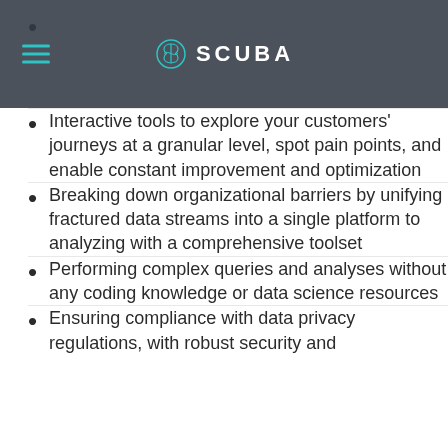Real-time analytics that allows you to access constant insights into customer actions and rapidly respond to your users' needs
Interactive tools to explore your customers' journeys at a granular level, spot pain points, and enable constant improvement and optimization
Breaking down organizational barriers by unifying fractured data streams into a single platform to analyzing with a comprehensive toolset
Performing complex queries and analyses without any coding knowledge or data science resources
Ensuring compliance with data privacy regulations, with robust security and